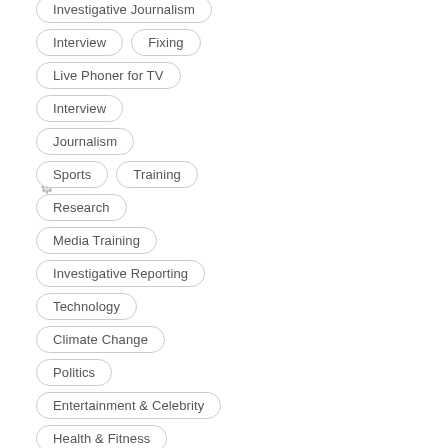Investigative Journalism
Interview
Fixing
Live Phoner for TV
Interview
Journalism
Sports
Training
Research
Media Training
Investigative Reporting
Technology
Climate Change
Politics
Entertainment & Celebrity
Health & Fitness
Social
Cultural